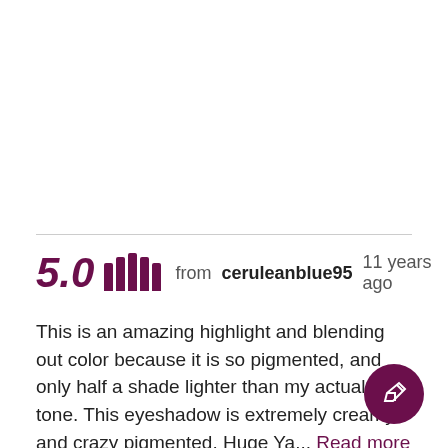5.0 ||||| from ceruleanblue95 11 years ago
This is an amazing highlight and blending out color because it is so pigmented, and only half a shade lighter than my actual skin tone. This eyeshadow is extremely creamy and crazy pigmented. Huge Ya... Read more
Favorite | Flag
2 of 3 people found this helpful. Did you?
Yes   No